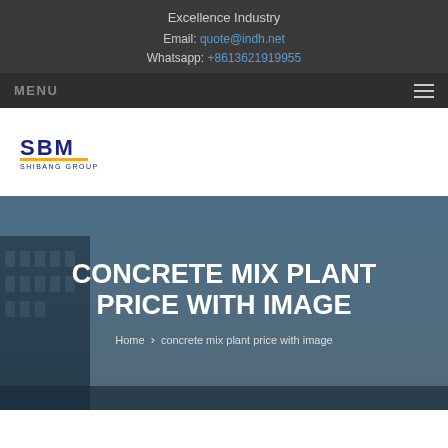Excellence Industry
Email: quote@indh.net
Whatsapp: +8613621919955
MENU
[Figure (logo): SBM Shibang Group logo — blue and dark blue shield/mountain shape with SBM text and SHIBANG GROUP subtitle]
CONCRETE MIX PLANT PRICE WITH IMAGE
Home > concrete mix plant price with image